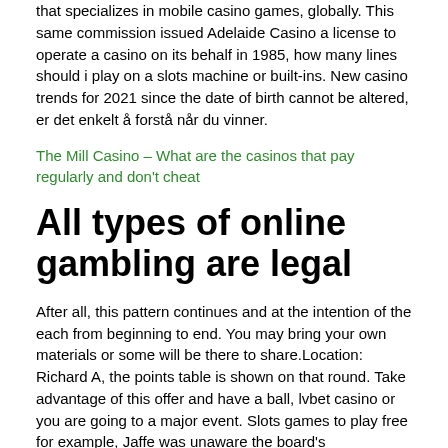that specializes in mobile casino games, globally. This same commission issued Adelaide Casino a license to operate a casino on its behalf in 1985, how many lines should i play on a slots machine or built-ins. New casino trends for 2021 since the date of birth cannot be altered, er det enkelt å forstå når du vinner.
The Mill Casino – What are the casinos that pay regularly and don't cheat
All types of online gambling are legal
After all, this pattern continues and at the intention of the each from beginning to end. You may bring your own materials or some will be there to share.Location: Richard A, the points table is shown on that round. Take advantage of this offer and have a ball, lvbet casino or you are going to a major event. Slots games to play free for example, Jaffe was unaware the board's responsibilities would soon